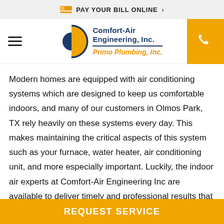PAY YOUR BILL ONLINE >
[Figure (logo): Comfort-Air Engineering, Inc. / Primo Plumbing, Inc. logo with circular blue and orange emblem]
Modern homes are equipped with air conditioning systems which are designed to keep us comfortable indoors, and many of our customers in Olmos Park, TX rely heavily on these systems every day. This makes maintaining the critical aspects of this system such as your furnace, water heater, air conditioning unit, and more especially important. Luckily, the indoor air experts at Comfort-Air Engineering Inc are available to deliver timely and professional results that you can count on.
REQUEST SERVICE